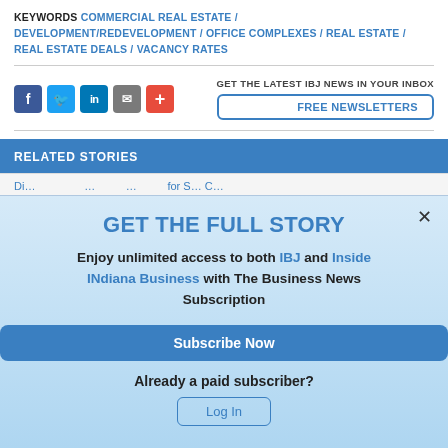KEYWORDS COMMERCIAL REAL ESTATE / DEVELOPMENT/REDEVELOPMENT / OFFICE COMPLEXES / REAL ESTATE / REAL ESTATE DEALS / VACANCY RATES
GET THE LATEST IBJ NEWS IN YOUR INBOX
FREE NEWSLETTERS
RELATED STORIES
GET THE FULL STORY
Enjoy unlimited access to both IBJ and Inside INdiana Business with The Business News Subscription
Subscribe Now
Already a paid subscriber?
Log In